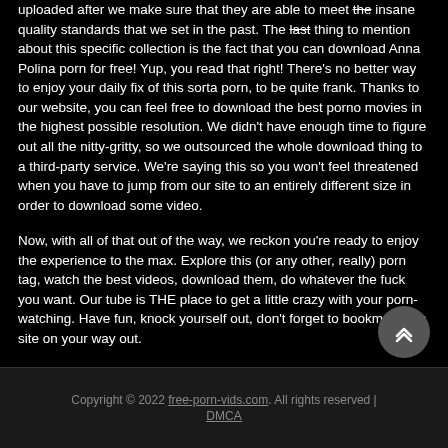uploaded after we make sure that they are able to meet the insane quality standards that we set in the past. The last thing to mention about this specific collection is the fact that you can download Anna Polina porn for free! Yup, you read that right! There's no better way to enjoy your daily fix of this sorta porn, to be quite frank. Thanks to our website, you can feel free to download the best porno movies in the highest possible resolution. We didn't have enough time to figure out all the nitty-gritty, so we outsourced the whole download thing to a third-party service. We're saying this so you won't feel threatened when you have to jump from our site to an entirely different size in order to download some video.
Now, with all of that out of the way, we reckon you're ready to enjoy the experience to the max. Explore this (or any other, really) porn tag, watch the best videos, download them, do whatever the fuck you want. Our tube is THE place to get a little crazy with your porn-watching. Have fun, knock yourself out, don't forget to bookmark this site on your way out.
Copyright © 2022 free-porn-vids.com. All rights reserved | DMCA